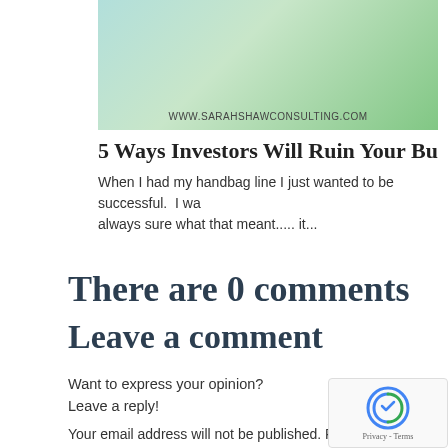[Figure (photo): Decorative image with green background and URL watermark: www.sarahshawconsulting.com]
5 Ways Investors Will Ruin Your Busine
When I had my handbag line I just wanted to be successful.  I wa always sure what that meant..... it...
There are 0 comments
Leave a comment
Want to express your opinion?
Leave a reply!
Your email address will not be published. Require fields are marked *